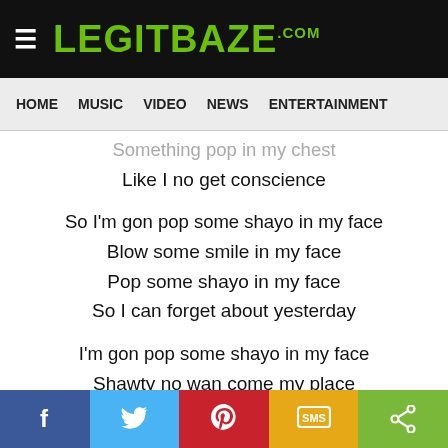LEGITBAZE.COM
HOME  MUSIC  VIDEO  NEWS  ENTERTAINMENT
Something pop in my chest
Like I no get conscience

So I'm gon pop some shayo in my face
Blow some smile in my face
Pop some shayo in my face
So I can forget about yesterday

I'm gon pop some shayo in my face
Shawty no wan come my place
And I don't know how to chase
I don't know how to chase

Iwo ni kan lo le confuse me
You confuse me
Facebook  Twitter  Pinterest  SMS  Share